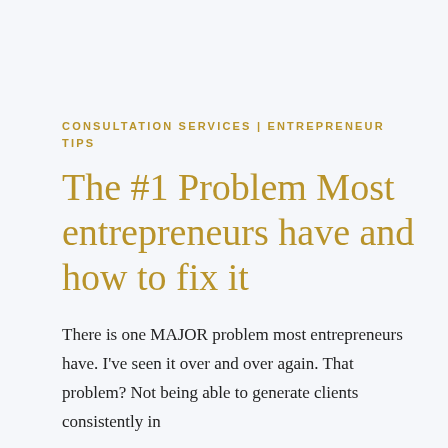CONSULTATION SERVICES | ENTREPRENEUR TIPS
The #1 Problem Most entrepreneurs have and how to fix it
There is one MAJOR problem most entrepreneurs have. I've seen it over and over again. That problem? Not being able to generate clients consistently in